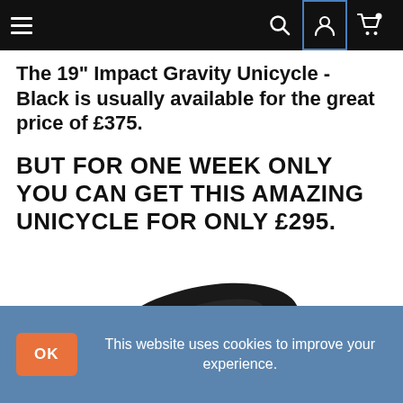Navigation bar with hamburger menu, search, user, and cart icons
The 19" Impact Gravity Unicycle - Black is usually available for the great price of £375.
BUT FOR ONE WEEK ONLY YOU CAN GET THIS AMAZING UNICYCLE FOR ONLY £295.
[Figure (photo): Close-up photo of a black unicycle saddle/seat with white stitching details and a logo visible]
This website uses cookies to improve your experience.